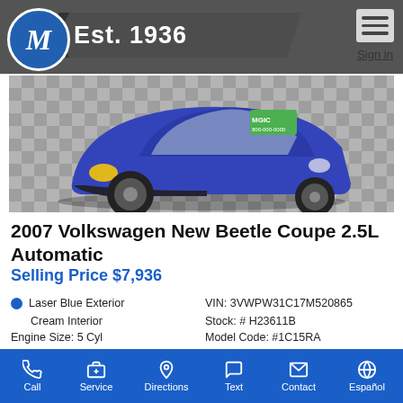M Est. 1936 | Sign in
[Figure (photo): Photo of a blue Volkswagen New Beetle coupe, front/side view, parked on a checkered tile floor. A green price tag is visible on the windshield.]
2007 Volkswagen New Beetle Coupe 2.5L Automatic
Selling Price $7,936
Laser Blue Exterior
Cream Interior
Engine Size: 5 Cyl
Mileage: 92,348 Miles
VIN: 3VWPW31C17M520865
Stock: # H23611B
Model Code: #1C15RA
DriveTrain: FWD
Call | Service | Directions | Text | Contact | Español